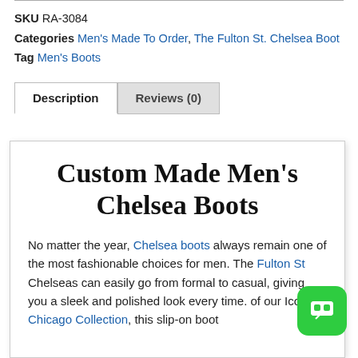SKU RA-3084
Categories  Men's Made To Order, The Fulton St. Chelsea Boot
Tag  Men's Boots
Description | Reviews (0)
Custom Made Men's Chelsea Boots
No matter the year, Chelsea boots always remain one of the most fashionable choices for men. The Fulton St Chelseas can easily go from formal to casual, giving you a sleek and polished look every time. of our Iconic Chicago Collection, this slip-on boot